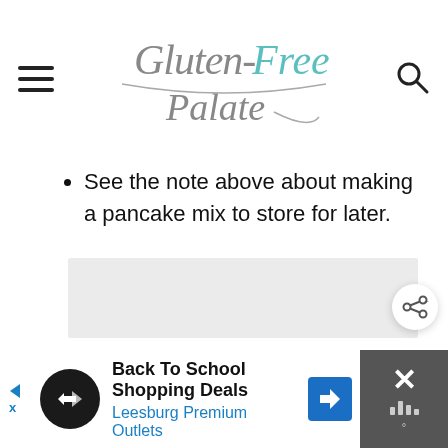[Figure (logo): Gluten-Free Palate logo in cursive script with teal accent on 'Free']
See the note above about making a pancake mix to store for later.
[Figure (photo): Light gray placeholder image area]
[Figure (infographic): Back To School Shopping Deals - Leesburg Premium Outlets advertisement banner with close button]